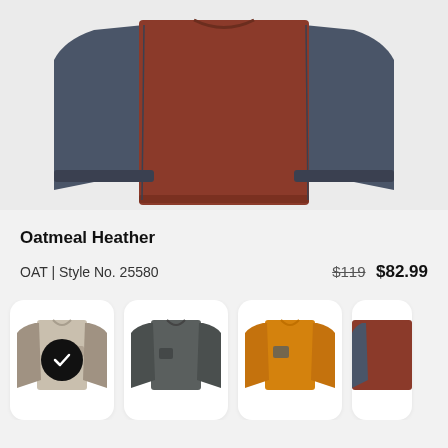[Figure (photo): Top portion of a fleece pullover sweater with brown/rust body and dark navy blue sleeves, cropped at the top]
Oatmeal Heather
OAT | Style No. 25580    $119 $82.99
[Figure (photo): Four color swatch cards showing fleece pullover variants: oatmeal/beige (selected with checkmark), dark gray, orange/amber, and partial navy blue]
Oatmeal Heather color selected, with variants in gray, orange, and navy